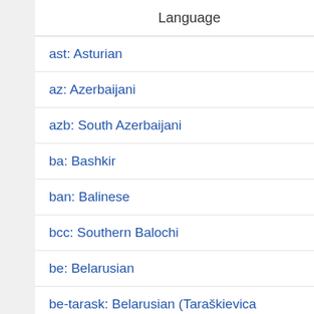| Language | Messages | Untransla |
| --- | --- | --- |
| ast: Asturian | 464 | 2 |
| az: Azerbaijani | 464 | 4 |
| azb: South Azerbaijani | 464 | 4 |
| ba: Bashkir | 464 | 4 |
| ban: Balinese | 464 | 4 |
| bcc: Southern Balochi | 464 | 4 |
| be: Belarusian | 464 | 4 |
| be-tarask: Belarusian (Taraškievica orthography) | 464 | 3 |